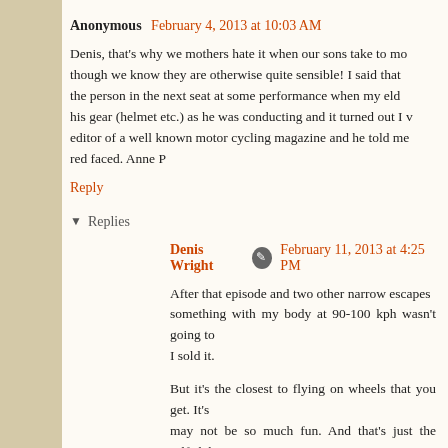Anonymous  February 4, 2013 at 10:03 AM
Denis, that's why we mothers hate it when our sons take to mo... though we know they are otherwise quite sensible! I said that... the person in the next seat at some performance when my eld... his gear (helmet etc.) as he was conducting and it turned out I v... editor of a well known motor cycling magazine and he told me... red faced. Anne P
Reply
Replies
Denis Wright  February 11, 2013 at 4:25 PM
After that episode and two other narrow escapes... something with my body at 90-100 kph wasn't going to... I sold it.
But it's the closest to flying on wheels that you get. It's... may not be so much fun. And that's just the selfish bit.
Reply